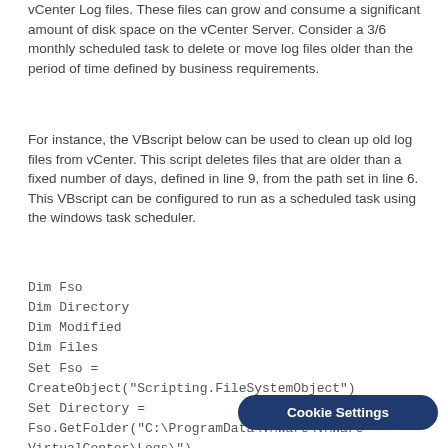vCenter Log files. These files can grow and consume a significant amount of disk space on the vCenter Server. Consider a 3/6 monthly scheduled task to delete or move log files older than the period of time defined by business requirements.
For instance, the VBscript below can be used to clean up old log files from vCenter. This script deletes files that are older than a fixed number of days, defined in line 9, from the path set in line 6. This VBscript can be configured to run as a scheduled task using the windows task scheduler.
Dim Fso
Dim Directory
Dim Modified
Dim Files
Set Fso =
CreateObject("Scripting.FileSystemObject")
Set Directory =
Fso.GetFolder("C:\ProgramData\VMware\VMware VirtualCenter\Logs\")